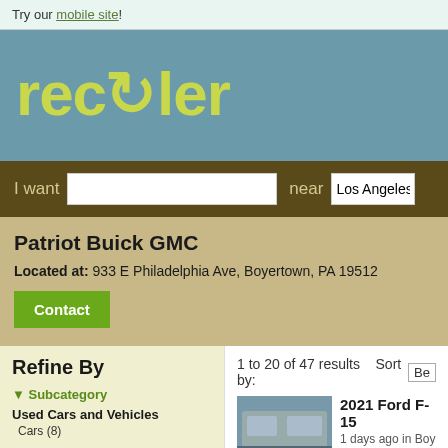Try our mobile site!
[Figure (logo): Recycler logo in yellow-green text on teal/blue background]
I want [search input] near Los Angeles,
Patriot Buick GMC
Located at: 933 E Philadelphia Ave, Boyertown, PA 19512
Contact
Refine By
Subcategory
Used Cars and Vehicles
Cars (8)
1 to 20 of 47 results  Sort by: Be
2021 Ford F-15
1 days ago in Boy